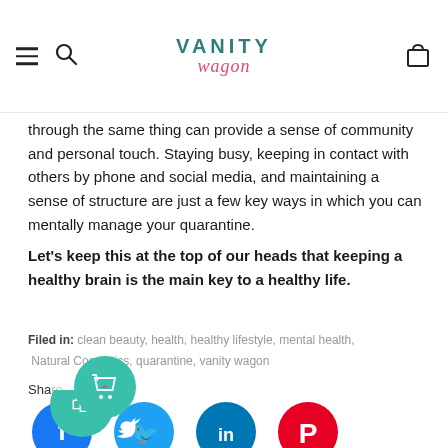VANITY wagon — navigation header with hamburger menu, search icon, logo, and bag icon
through the same thing can provide a sense of community and personal touch. Staying busy, keeping in contact with others by phone and social media, and maintaining a sense of structure are just a few key ways in which you can mentally manage your quarantine.
Let's keep this at the top of our heads that keeping a healthy brain is the main key to a healthy life.
Filed in: clean beauty, health, healthy lifestyle, mental health, Natural Cosmetics, quarantine, vanity wagon
Share
[Figure (other): Social share icons: Facebook (blue circle with f), Twitter (light blue circle with bird), LinkedIn (blue circle with in), Pinterest (red circle with P), and a floating teal cart/bag button overlay]